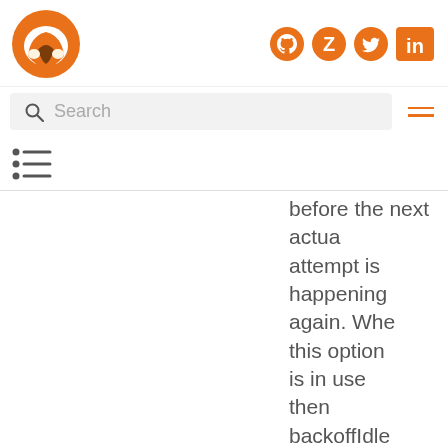[Figure (logo): Orange fox/bird logo in top left]
[Figure (infographic): Social media icons: GitHub, Zotero, Twitter, LinkedIn in orange]
[Figure (other): Search bar with magnifying glass icon and placeholder text 'Search', plus hamburger menu icon]
[Figure (other): List/TOC navigation icon]
before the next actual attempt is happening again. When this option is in use then backoffIdleThreshold and/or backoffErrorThreshold